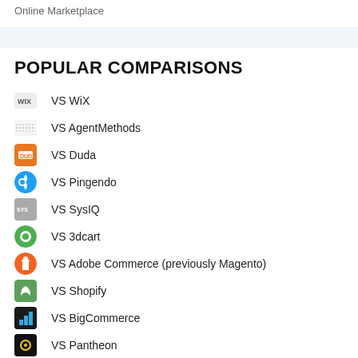Online Marketplace
POPULAR COMPARISONS
VS WiX
VS AgentMethods
VS Duda
VS Pingendo
VS SysIQ
VS 3dcart
VS Adobe Commerce (previously Magento)
VS Shopify
VS BigCommerce
VS Pantheon
VS Scalefast